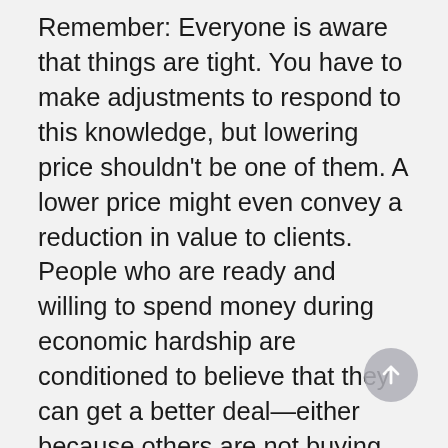Remember: Everyone is aware that things are tight. You have to make adjustments to respond to this knowledge, but lowering price shouldn't be one of them. A lower price might even convey a reduction in value to clients. People who are ready and willing to spend money during economic hardship are conditioned to believe that they can get a better deal—either because others are not buying or because your competitors are (incorrectly) using price to get their attention. Do the math, and you will discover that this lower-price-with-less-volume formula will not work out for you. You have to learn how to sell your product and justify the price by building value, selling yourself and your company, and creating a wow experience.